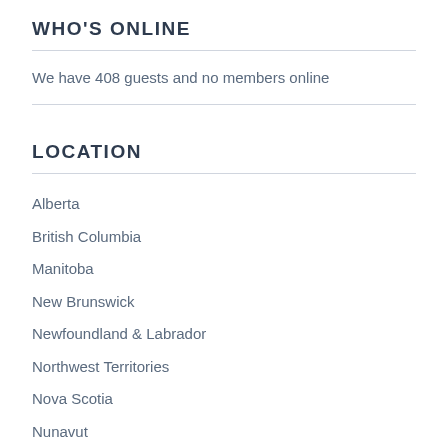WHO'S ONLINE
We have 408 guests and no members online
LOCATION
Alberta
British Columbia
Manitoba
New Brunswick
Newfoundland & Labrador
Northwest Territories
Nova Scotia
Nunavut
Ontario